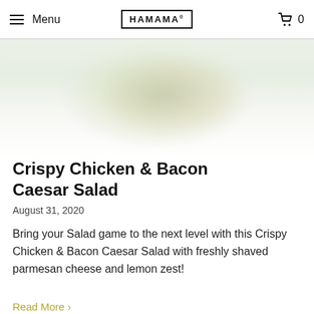Menu  HAMAMA  0
[Figure (photo): Blurred overhead photo of a salad bowl with greens and toppings, fading to white at the bottom]
Crispy Chicken & Bacon Caesar Salad
August 31, 2020
Bring your Salad game to the next level with this Crispy Chicken & Bacon Caesar Salad with freshly shaved parmesan cheese and lemon zest!
Read More →